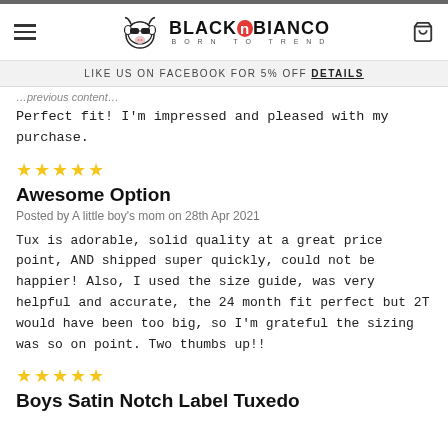Black N Bianco - Born To Trend (website header with logo and navigation)
LIKE US ON FACEBOOK FOR 5% OFF DETAILS
Perfect fit! I&#039;m impressed and pleased with my purchase.
★★★★★
Awesome Option
Posted by A little boy&#039;s mom on 28th Apr 2021
Tux is adorable, solid quality at a great price point, AND shipped super quickly, could not be happier! Also, I used the size guide, was very helpful and accurate, the 24 month fit perfect but 2T would have been too big, so I&#039;m grateful the sizing was so on point. Two thumbs up!!
★★★★★
Boys Satin Notch Label Tuxedo